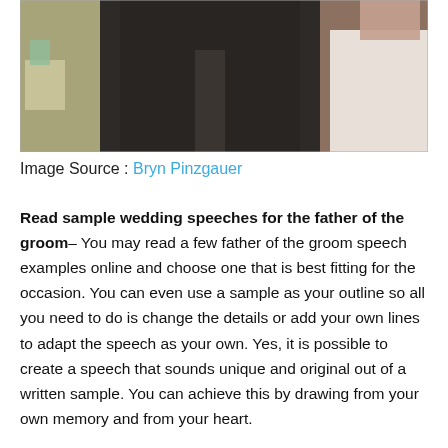[Figure (photo): A close-up photograph of a man in a dark suit at a wedding reception, with a woman in white visible in the background.]
Image Source : Bryn Pinzgauer
Read sample wedding speeches for the father of the groom– You may read a few father of the groom speech examples online and choose one that is best fitting for the occasion. You can even use a sample as your outline so all you need to do is change the details or add your own lines to adapt the speech as your own. Yes, it is possible to create a speech that sounds unique and original out of a written sample. You can achieve this by drawing from your own memory and from your heart.